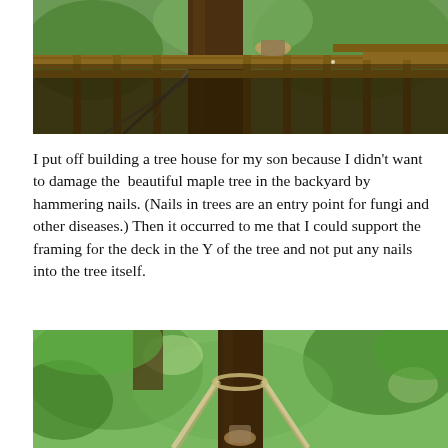[Figure (photo): Underside view of a treehouse platform with wooden beams and joists resting in the Y-fork of a large tree, with green foliage visible in background. A person is visible on top.]
I put off building a tree house for my son because I didn't want to damage the  beautiful maple tree in the backyard by hammering nails. (Nails in trees are an entry point for fungi and other diseases.) Then it occurred to me that I could support the framing for the deck in the Y of the tree and not put any nails into the tree itself.
[Figure (photo): View of a tall tree trunk with ropes or straps wrapped around it in a Y-shape for supporting the treehouse framing, surrounded by green leafy trees.]